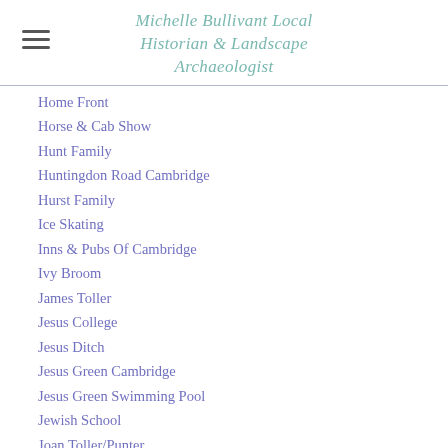Michelle Bullivant Local Historian & Landscape Archaeologist
Home Front
Horse & Cab Show
Hunt Family
Huntingdon Road Cambridge
Hurst Family
Ice Skating
Inns & Pubs Of Cambridge
Ivy Broom
James Toller
Jesus College
Jesus Ditch
Jesus Green Cambridge
Jesus Green Swimming Pool
Jewish School
Joan Toller/Punter
John Toller
Jones Family